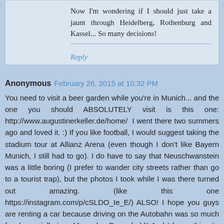Now I'm wondering if I should just take a jaunt through Heidelberg, Rothenburg and Kassel... So many decisions!
Reply
Anonymous  February 26, 2015 at 10:32 PM
You need to visit a beer garden while you're in Munich... and the one you should ABSOLUTELY visit is this one: http://www.augustinerkeller.de/home/  I went there two summers ago and loved it. :) If you like football, I would suggest taking the stadium tour at Allianz Arena (even though I don't like Bayern Munich, I still had to go). I do have to say that Neuschwanstein was a little boring (I prefer to wander city streets rather than go to a tourist trap), but the photos I took while I was there turned out amazing. (like this one https://instagram.com/p/cSLDO_Ie_E/) ALSO! I hope you guys are renting a car because driving on the Autobahn was so much fun (especially in a Mercedes Benz, heh)! And I know this city isn't in your plans, but we stayed a few nights in Dresden and really loved it. (be sure